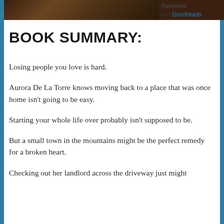[Figure (photo): Partial view of a book cover or food image with dark tones, cropped at top of page]
Reviews on: Goodreads
BOOK SUMMARY:
Losing people you love is hard.
Aurora De La Torre knows moving back to a place that was once home isn't going to be easy.
Starting your whole life over probably isn't supposed to be.
But a small town in the mountains might be the perfect remedy for a broken heart.
Checking out her landlord across the driveway just might